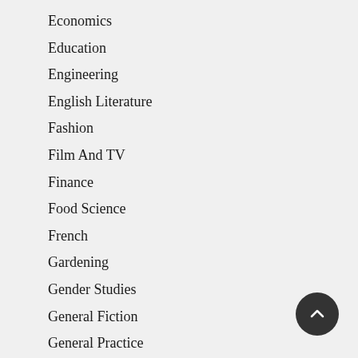Economics
Education
Engineering
English Literature
Fashion
Film And TV
Finance
Food Science
French
Gardening
Gender Studies
General Fiction
General Practice
Genetics